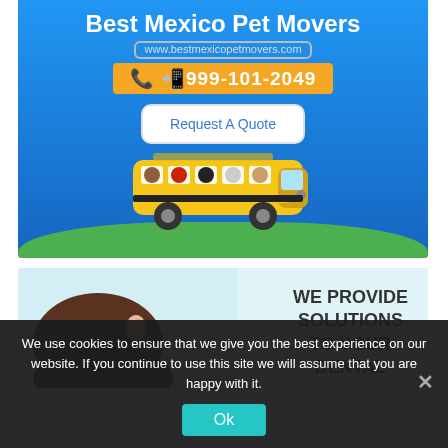[Figure (infographic): Best Mexico Pet Movers advertisement banner with blue background, showing website URL www.bestmexicopetmovers.com, phone number 999-101-2049 in orange bar, a 'Request A Quote' button, and a yellow school bus with cartoon animals in the windows on grass]
[Figure (photo): Dental advertisement showing a person bending down with text 'WE PROVIDE SOLUTIONS TO YOUR DENTAL' on teal/light blue background]
We use cookies to ensure that we give you the best experience on our website. If you continue to use this site we will assume that you are happy with it.